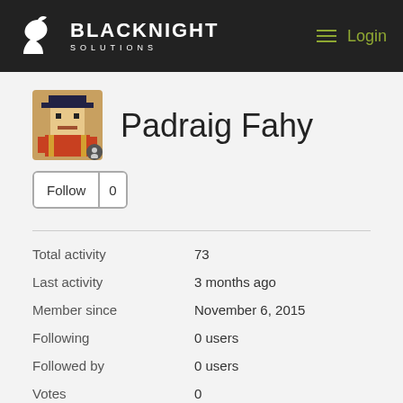BLACKNIGHT SOLUTIONS — Login
[Figure (photo): User avatar: pixel art character with hat]
Padraig Fahy
Follow 0
Total activity    73
Last activity    3 months ago
Member since    November 6, 2015
Following    0 users
Followed by    0 users
Votes    0
Subscriptions    38